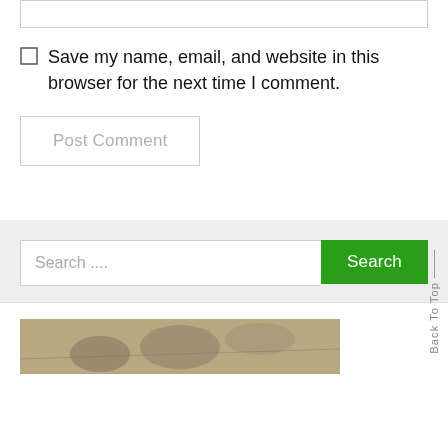[Figure (screenshot): A text input box (empty) with a gray border at the top of the page]
Save my name, email, and website in this browser for the next time I comment.
Post Comment
Search ….
Search
Back To Top
[Figure (photo): A partial black and white photograph visible at the bottom of the page]